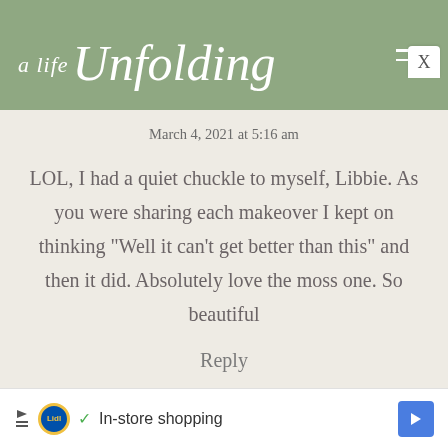a life Unfolding
March 4, 2021 at 5:16 am
LOL, I had a quiet chuckle to myself, Libbie. As you were sharing each makeover I kept on thinking "Well it can't get better than this" and then it did. Absolutely love the moss one. So beautiful
Reply
[Figure (screenshot): Lidl advertisement banner with play/close icons, Lidl logo, checkmark, 'In-store shopping' text, and blue navigation arrow]